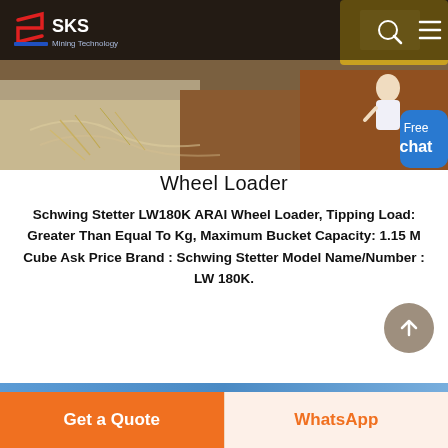[Figure (photo): SKS Mining Technology website screenshot showing a wheel loader/excavation machine working in soil/dirt, with navigation bar at top showing SKS logo, search icon, and hamburger menu. A chat assistant bubble is visible on the right side saying 'Free chat'.]
Wheel Loader
Schwing Stetter LW180K ARAI Wheel Loader, Tipping Load: Greater Than Equal To Kg, Maximum Bucket Capacity: 1.15 M Cube Ask Price Brand : Schwing Stetter Model Name/Number : LW 180K.
[Figure (other): Scroll to top button - circular brown/tan button with upward arrow]
[Figure (other): Blue horizontal progress/navigation bar near bottom of page]
Get a Quote
WhatsApp